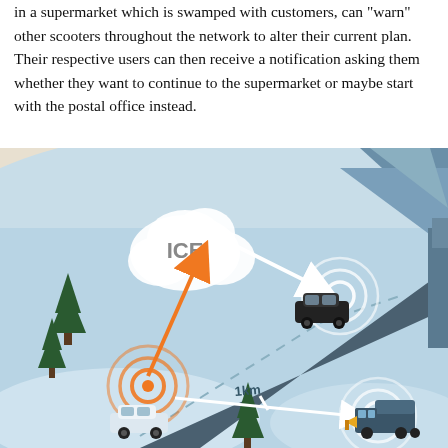in a supermarket which is swamped with customers, can "warn" other scooters throughout the network to alter their current plan. Their respective users can then receive a notification asking them whether they want to continue to the supermarket or maybe start with the postal office instead.
[Figure (infographic): An infographic showing vehicle-to-cloud (ICE) communication on a winter road scene. A white car at the bottom-left has an orange signal ring and sends an orange arrow up to a cloud labeled 'ICE'. The cloud sends a white arrow to a black SUV on the road (with concentric rings). A white diagonal arrow labeled '1km' connects the white car to a snow plow truck at the bottom-right, which also has concentric signal rings. Pine trees and a snowy/icy road landscape are shown.]